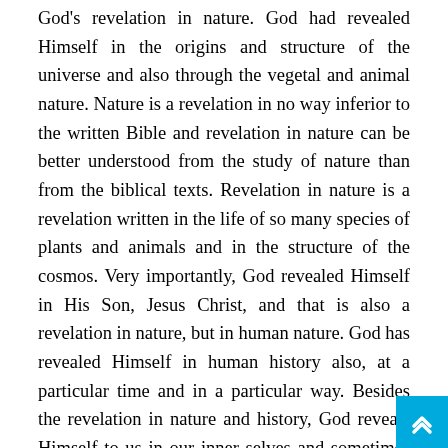God's revelation in nature. God had revealed Himself in the origins and structure of the universe and also through the vegetal and animal nature. Nature is a revelation in no way inferior to the written Bible and revelation in nature can be better understood from the study of nature than from the biblical texts. Revelation in nature is a revelation written in the life of so many species of plants and animals and in the structure of the cosmos. Very importantly, God revealed Himself in His Son, Jesus Christ, and that is also a revelation in nature, but in human nature. God has revealed Himself in human history also, at a particular time and in a particular way. Besides the revelation in nature and history, God reveals Himself to us in our inner selves and sometimes through the Bible; not as directly as one would probably be inclined to believe, but through many layers of human interpretations by the authors and